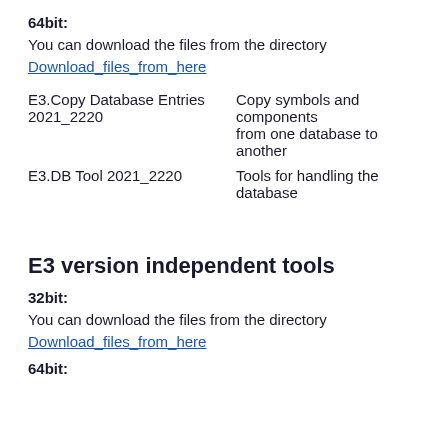64bit:
You can download the files from the directory
Download files from here
| E3.Copy Database Entries 2021_2220 | Copy symbols and components from one database to another |
| E3.DB Tool 2021_2220 | Tools for handling the database |
E3 version independent tools
32bit:
You can download the files from the directory
Download files from here
64bit: